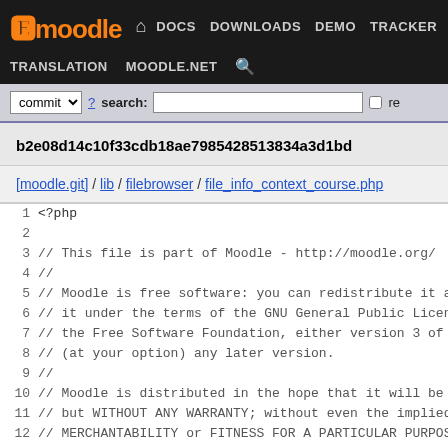moodle — DOCS DOWNLOADS DEMO TRACKER DEV TRANSLATION MOODLE.NET
commit ▼ ? search: [input] re
b2e08d14c10f33cdb18ae7985428513834a3d1bd
[moodle.git] / lib / filebrowser / file_info_context_course.php
1  <?php
2
3  // This file is part of Moodle - http://moodle.org/
4  //
5  // Moodle is free software: you can redistribute it and
6  // it under the terms of the GNU General Public License
7  // the Free Software Foundation, either version 3 of th
8  // (at your option) any later version.
9  //
10 // Moodle is distributed in the hope that it will be us
11 // but WITHOUT ANY WARRANTY; without even the implied w
12 // MERCHANTABILITY or FITNESS FOR A PARTICULAR PURPOSE.
13 // GNU General Public License for more details.
14 //
15 // You should have received a copy of the GNU General P
16 // along with Moodle.  If not, see <http://www.gnu.org/
17
18